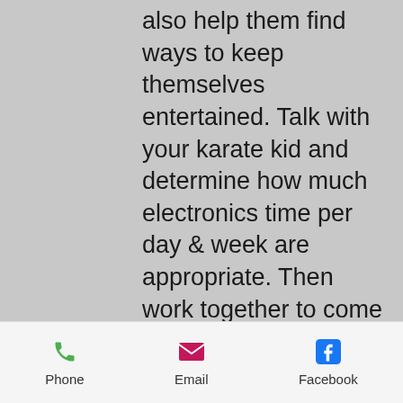also help them find ways to keep themselves entertained. Talk with your karate kid and determine how much electronics time per day & week are appropriate. Then work together to come up with a list of activities they enjoy!
Be a good role model
Get outdoors and show them how much fun it is to be active! Children will often make better choices when their role models are doing the same, do so and they will be more willing to
Phone  Email  Facebook